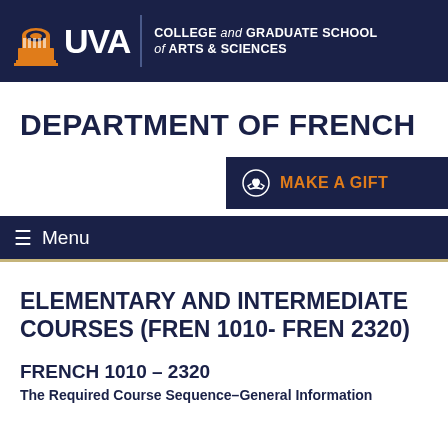UVA | COLLEGE and GRADUATE SCHOOL of ARTS & SCIENCES
DEPARTMENT OF FRENCH
[Figure (infographic): Make a Gift button with handshake/heart icon on dark navy background, orange text]
≡ Menu
ELEMENTARY AND INTERMEDIATE COURSES (FREN 1010- FREN 2320)
FRENCH 1010 – 2320
The Required Course Sequence–General Information